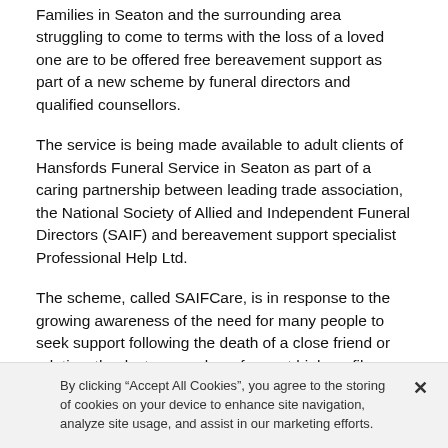Families in Seaton and the surrounding area struggling to come to terms with the loss of a loved one are to be offered free bereavement support as part of a new scheme by funeral directors and qualified counsellors.
The service is being made available to adult clients of Hansfords Funeral Service in Seaton as part of a caring partnership between leading trade association, the National Society of Allied and Independent Funeral Directors (SAIF) and bereavement support specialist Professional Help Ltd.
The scheme, called SAIFCare, is in response to the growing awareness of the need for many people to seek support following the death of a close friend or relative, thanks to a number of recent high profile
By clicking “Accept All Cookies”, you agree to the storing of cookies on your device to enhance site navigation, analyze site usage, and assist in our marketing efforts.